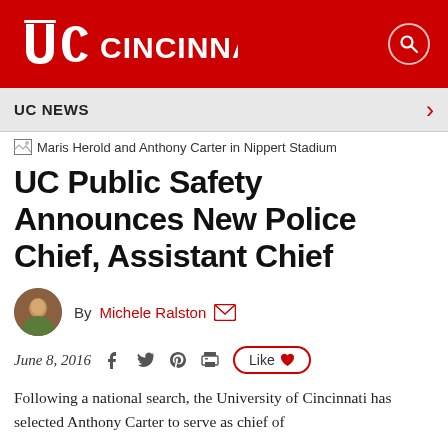UC Cincinnati
UC NEWS
[Figure (photo): Maris Herold and Anthony Carter in Nippert Stadium]
UC Public Safety Announces New Police Chief, Assistant Chief
By Michele Ralston
June 8, 2016
Following a national search, the University of Cincinnati has selected Anthony Carter to serve as chief of